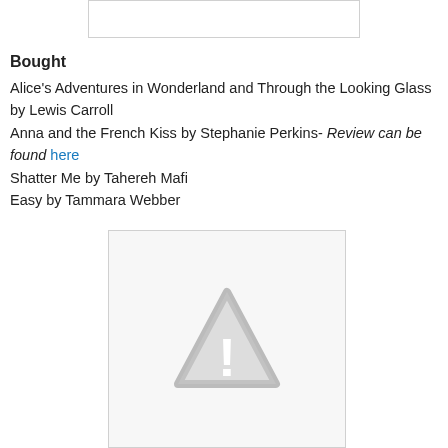[Figure (other): Top placeholder image with light border]
Bought
Alice's Adventures in Wonderland and Through the Looking Glass by Lewis Carroll
Anna and the French Kiss by Stephanie Perkins- Review can be found here
Shatter Me by Tahereh Mafi
Easy by Tammara Webber
[Figure (other): Placeholder image with warning triangle exclamation mark icon]